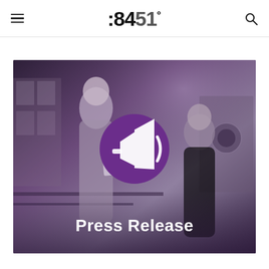8451°
[Figure (photo): Press Release hero image showing two people in a workspace with a purple megaphone icon overlay and 'Press Release' text at bottom. The image has a purple/dark violet color overlay.]